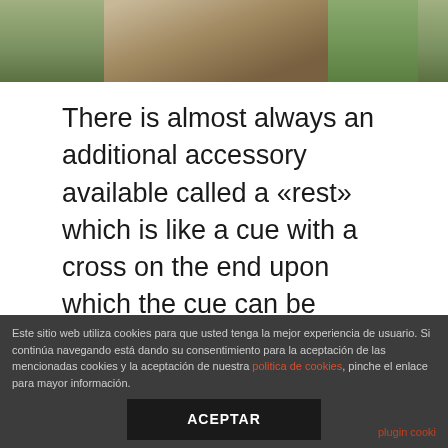[Figure (photo): Partial photo of people outdoors, showing torsos and background vegetation]
There is almost always an additional accessory available called a «rest» which is like a cue with a cross on the end upon which the cue can be rested to extend its playing length. Hey chris, i was recently trying to build something similar to this, but i wanted to convert nested ul into optgroups think about converting a dropdown nav to a select nav. I could make looking for best seniors dating online sites coffin ships more likely, but if you just keep trying, you'll get
Este sitio web utiliza cookies para que usted tenga la mejor experiencia de usuario. Si continúa navegando está dando su consentimiento para la aceptación de las mencionadas cookies y la aceptación de nuestra politica de cookies, pinche el enlace para mayor información.
ACEPTAR
plugin cooki